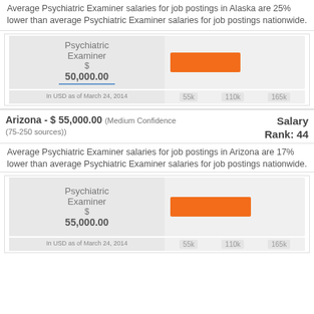Average Psychiatric Examiner salaries for job postings in Alaska are 25% lower than average Psychiatric Examiner salaries for job postings nationwide.
[Figure (bar-chart): Psychiatric Examiner $50,000.00]
Arizona - $ 55,000.00 (Medium Confidence (75-250 sources))
Salary Rank: 44
Average Psychiatric Examiner salaries for job postings in Arizona are 17% lower than average Psychiatric Examiner salaries for job postings nationwide.
[Figure (bar-chart): Psychiatric Examiner $55,000.00]